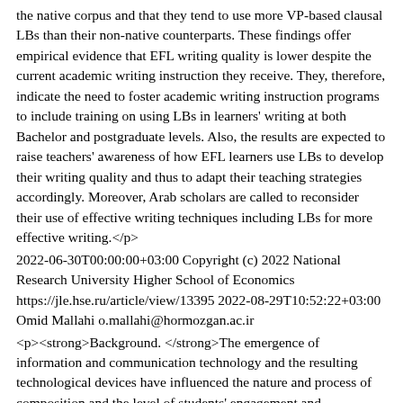the native corpus and that they tend to use more VP-based clausal LBs than their non-native counterparts. These findings offer empirical evidence that EFL writing quality is lower despite the current academic writing instruction they receive. They, therefore, indicate the need to foster academic writing instruction programs to include training on using LBs in learners' writing at both Bachelor and postgraduate levels. Also, the results are expected to raise teachers' awareness of how EFL learners use LBs to develop their writing quality and thus to adapt their teaching strategies accordingly. Moreover, Arab scholars are called to reconsider their use of effective writing techniques including LBs for more effective writing.</p>
2022-06-30T00:00:00+03:00 Copyright (c) 2022 National Research University Higher School of Economics https://jle.hse.ru/article/view/13395 2022-08-29T10:52:22+03:00 Omid Mallahi o.mallahi@hormozgan.ac.ir
<p><strong>Background. </strong>The emergence of information and communication technology and the resulting technological devices have influenced the nature and process of composition and the level of students' engagement and participation in writing activities.</p> <p><strong>Purpose. </strong>The present study reviews 50 studies published in peer-reviewed applied linguistics journals from 2000 to 2020 which have investigated the use and implications of technology for teaching and assessing writing in academic contexts.</p> <p><strong>Methods. </strong>The